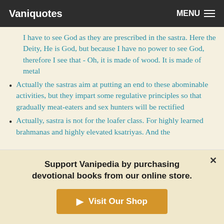Vaniquotes | MENU
I have to see God as they are prescribed in the sastra. Here the Deity, He is God, but because I have no power to see God, therefore I see that - Oh, it is made of wood. It is made of metal
Actually the sastras aim at putting an end to these abominable activities, but they impart some regulative principles so that gradually meat-eaters and sex hunters will be rectified
Actually, sastra is not for the loafer class. For highly learned brahmanas and highly elevated ksatriyas. And the
Support Vanipedia by purchasing devotional books from our online store.
Visit Our Shop